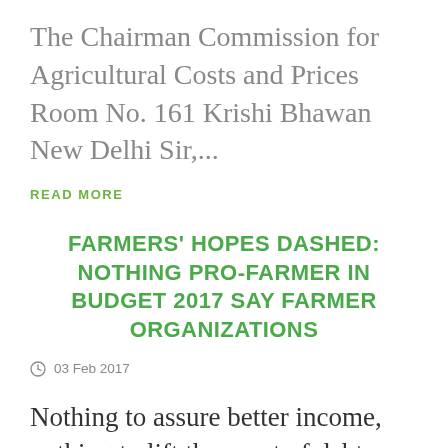The Chairman Commission for Agricultural Costs and Prices Room No. 161 Krishi Bhawan New Delhi Sir,...
READ MORE
FARMERS' HOPES DASHED: NOTHING PRO-FARMER IN BUDGET 2017 SAY FARMER ORGANIZATIONS
03 Feb 2017
Nothing to assure better income, nothing to lift them out of debt...